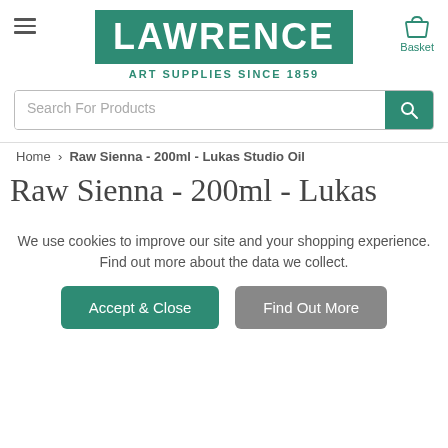[Figure (logo): Lawrence Art Supplies logo: teal/green rectangle with white bold LAWRENCE text, tagline ART SUPPLIES SINCE 1859 below in teal]
[Figure (other): Hamburger menu icon (three horizontal lines) on the left]
[Figure (other): Basket icon (shopping basket outline) with label Basket on the right]
Search For Products
Home > Raw Sienna - 200ml - Lukas Studio Oil
Raw Sienna - 200ml - Lukas
We use cookies to improve our site and your shopping experience.
Find out more about the data we collect.
Accept & Close
Find Out More